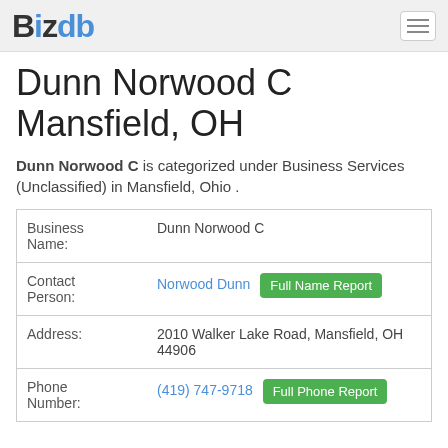BizDB
Dunn Norwood C Mansfield, OH
Dunn Norwood C is categorized under Business Services (Unclassified) in Mansfield, Ohio .
| Field | Value |
| --- | --- |
| Business Name: | Dunn Norwood C |
| Contact Person: | Norwood Dunn [Full Name Report] |
| Address: | 2010 Walker Lake Road, Mansfield, OH 44906 |
| Phone Number: | (419) 747-9718 [Full Phone Report] |